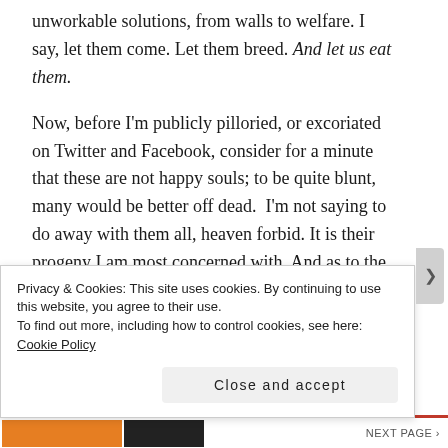unworkable solutions, from walls to welfare. I say, let them come. Let them breed. And let us eat them.
Now, before I'm publicly pilloried, or excoriated on Twitter and Facebook, consider for a minute that these are not happy souls; to be quite blunt, many would be better off dead.  I'm not saying to do away with them all, heaven forbid. It is their progeny I am most concerned with. And as to the continued production of choice offspring which would benefit from some sort of informed husbandry, we need look no further than  non-
Privacy & Cookies: This site uses cookies. By continuing to use this website, you agree to their use.
To find out more, including how to control cookies, see here: Cookie Policy
Close and accept